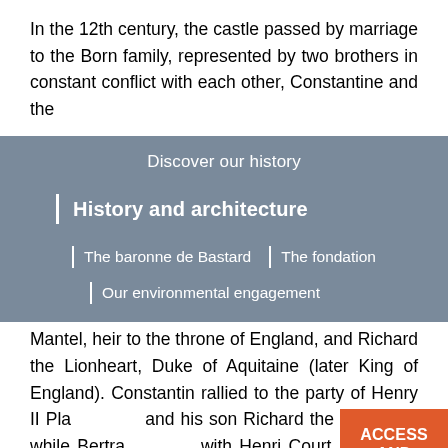In the 12th century, the castle passed by marriage to the Born family, represented by two brothers in constant conflict with each other, Constantine and the
Discover our history
History and architecture
The baronne de Bastard
The fondation
Our environmental engagement
Mantel, heir to the throne of England, and Richard the Lionheart, Duke of Aquitaine (later King of England). Constantin rallied to the party of Henry II Pla and his son Richard the Lionheart, while Bertra with Henri Court Mantel. In 1183, Haute besieged and taken by Richard the Lionheart.
ACCESS AND OPENING HOURS